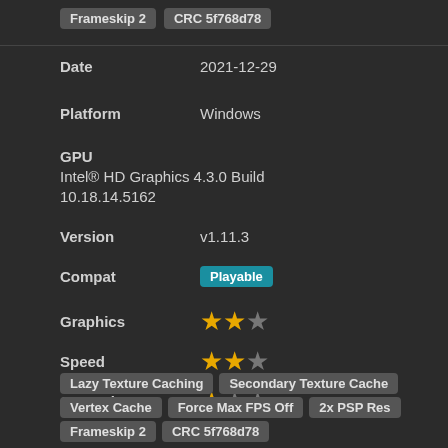Frameskip 2   CRC 5f768d78
| Field | Value |
| --- | --- |
| Date | 2021-12-29 |
| Platform | Windows |
| GPU | Intel® HD Graphics 4.3.0 Build 10.18.14.5162 |
| Version | v1.11.3 |
| Compat | Playable |
| Graphics | 2/3 stars |
| Speed | 2/3 stars |
| Gameplay | 1/3 stars |
Lazy Texture Caching
Secondary Texture Cache
Vertex Cache
Force Max FPS Off
2x PSP Res
Frameskip 2
CRC 5f768d78